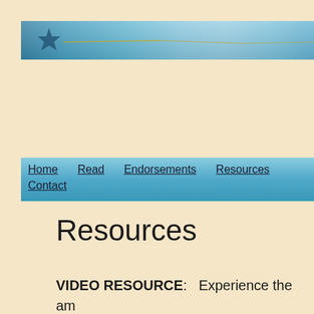[Figure (illustration): Website header banner with blue/teal watercolor texture and decorative star/floral motif on the left side with golden line accents]
Home   Read   Endorsements   Resources   Contact
Resources
VIDEO RESOURCE:   Experience the am illustration of each of the stages in the Jo